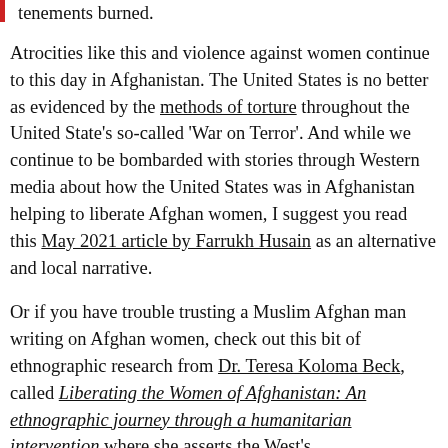tenements burned.
Atrocities like this and violence against women continue to this day in Afghanistan. The United States is no better as evidenced by the methods of torture throughout the United State's so-called 'War on Terror'. And while we continue to be bombarded with stories through Western media about how the United States was in Afghanistan helping to liberate Afghan women, I suggest you read this May 2021 article by Farrukh Husain as an alternative and local narrative.
Or if you have trouble trusting a Muslim Afghan man writing on Afghan women, check out this bit of ethnographic research from Dr. Teresa Koloma Beck, called Liberating the Women of Afghanistan: An ethnographic journey through a humanitarian intervention where she asserts the West's